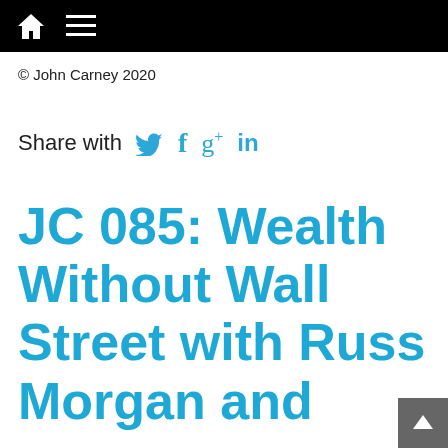© John Carney 2020
Share with 🐦 f g+ in
JC 085: Wealth Without Wall Street with Russ Morgan and